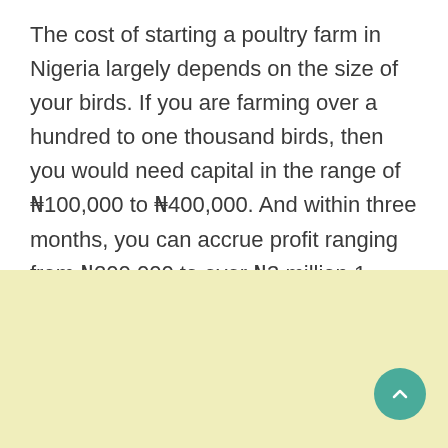The cost of starting a poultry farm in Nigeria largely depends on the size of your birds. If you are farming over a hundred to one thousand birds, then you would need capital in the range of ₦100,000 to ₦400,000. And within three months, you can accrue profit ranging from ₦200,000 to over ₦3 million.1